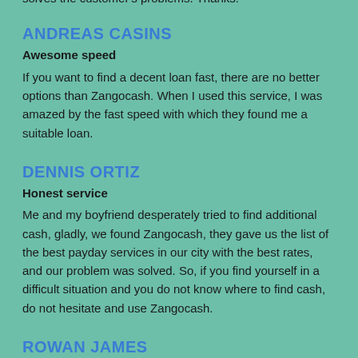solves the customer's problems. Thanks.
ANDREAS CASINS
Awesome speed
If you want to find a decent loan fast, there are no better options than Zangocash. When I used this service, I was amazed by the fast speed with which they found me a suitable loan.
DENNIS ORTIZ
Honest service
Me and my boyfriend desperately tried to find additional cash, gladly, we found Zangocash, they gave us the list of the best payday services in our city with the best rates, and our problem was solved. So, if you find yourself in a difficult situation and you do not know where to find cash, do not hesitate and use Zangocash.
ROWAN JAMES